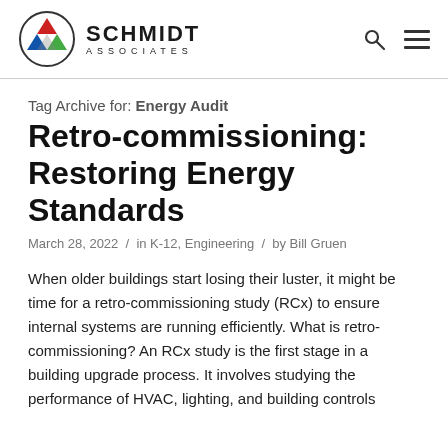Schmidt Associates — logo and navigation header
Tag Archive for: Energy Audit
Retro-commissioning: Restoring Energy Standards
March 28, 2022 / in K-12, Engineering / by Bill Gruen
When older buildings start losing their luster, it might be time for a retro-commissioning study (RCx) to ensure internal systems are running efficiently. What is retro-commissioning? An RCx study is the first stage in a building upgrade process. It involves studying the performance of HVAC, lighting, and building controls